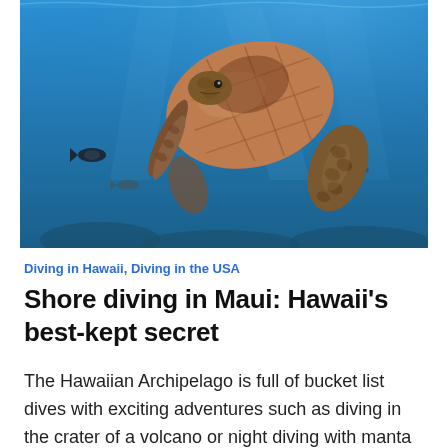[Figure (photo): Underwater photograph of a sea turtle swimming in clear blue ocean water, viewed from below at an angle. The turtle's brown shell and patterned flippers are visible. Small fish and coral reef can be seen in the background.]
Diving in Hawaii, Diving in the USA
Shore diving in Maui: Hawaii's best-kept secret
The Hawaiian Archipelago is full of bucket list dives with exciting adventures such as diving in the crater of a volcano or night diving with manta rays, but all of these scuba diving trips come at a high price tag. To be